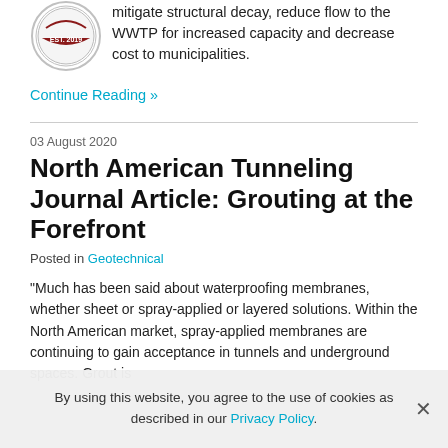[Figure (logo): Circular logo with 'EST. 2019' text in maroon/red color scheme]
mitigate structural decay, reduce flow to the WWTP for increased capacity and decrease cost to municipalities.
Continue Reading »
03 August 2020
North American Tunneling Journal Article: Grouting at the Forefront
Posted in Geotechnical
"Much has been said about waterproofing membranes, whether sheet or spray-applied or layered solutions. Within the North American market, spray-applied membranes are continuing to gain acceptance in tunnels and underground spaces. Grout is
By using this website, you agree to the use of cookies as described in our Privacy Policy.